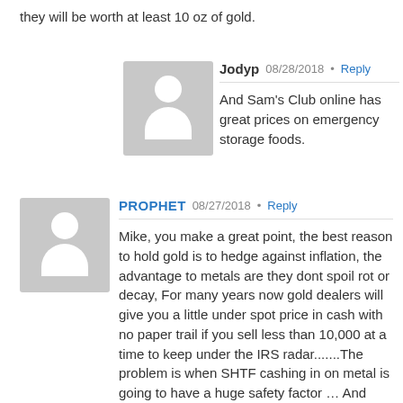they will be worth at least 10 oz of gold.
Jodyp  08/28/2018  Reply
And Sam's Club online has great prices on emergency storage foods.
PROPHET  08/27/2018  Reply
Mike, you make a great point, the best reason to hold gold is to hedge against inflation, the advantage to metals are they dont spoil rot or decay, For many years now gold dealers will give you a little under spot price in cash with no paper trail if you sell less than 10,000 at a time to keep under the IRS radar.......The problem is when SHTF cashing in on metal is going to have a huge safety factor ... And who is going to want to cash it in for paper dollars that have been inflated to